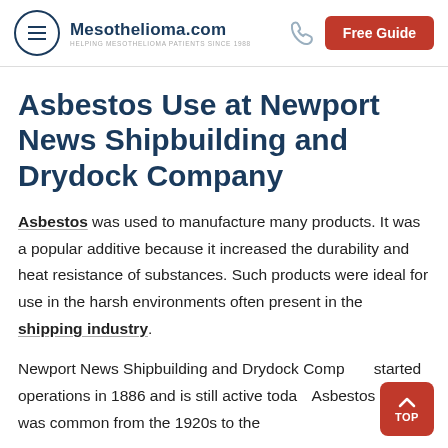Mesothelioma.com — Helping Mesothelioma Patients Since 1988
Asbestos Use at Newport News Shipbuilding and Drydock Company
Asbestos was used to manufacture many products. It was a popular additive because it increased the durability and heat resistance of substances. Such products were ideal for use in the harsh environments often present in the shipping industry.
Newport News Shipbuilding and Drydock Company started operations in 1886 and is still active today. Asbestos use was common from the 1920s to the